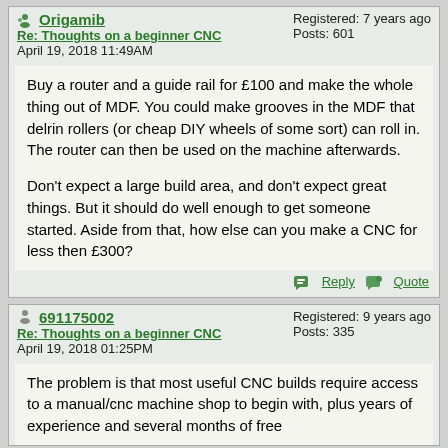Origamib
Re: Thoughts on a beginner CNC
April 19, 2018 11:49AM
Registered: 7 years ago
Posts: 601
Buy a router and a guide rail for £100 and make the whole thing out of MDF. You could make grooves in the MDF that delrin rollers (or cheap DIY wheels of some sort) can roll in. The router can then be used on the machine afterwards.

Don't expect a large build area, and don't expect great things. But it should do well enough to get someone started. Aside from that, how else can you make a CNC for less then £300?
Reply  Quote
691175002
Re: Thoughts on a beginner CNC
April 19, 2018 01:25PM
Registered: 9 years ago
Posts: 335
The problem is that most useful CNC builds require access to a manual/cnc machine shop to begin with, plus years of experience and several months of free